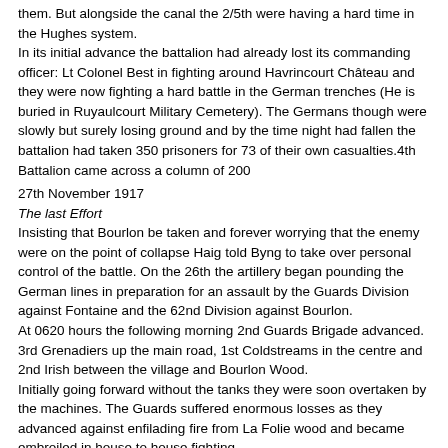them. But alongside the canal the 2/5th were having a hard time in the Hughes system.
In its initial advance the battalion had already lost its commanding officer: Lt Colonel Best in fighting around Havrincourt Château and they were now fighting a hard battle in the German trenches (He is buried in Ruyaulcourt Military Cemetery). The Germans though were slowly but surely losing ground and by the time night had fallen the battalion had taken 350 prisoners for 73 of their own casualties.4th Battalion came across a column of 200
27th November 1917
The last Effort
Insisting that Bourlon be taken and forever worrying that the enemy were on the point of collapse Haig told Byng to take over personal control of the battle. On the 26th the artillery began pounding the German lines in preparation for an assault by the Guards Division against Fontaine and the 62nd Division against Bourlon.
At 0620 hours the following morning 2nd Guards Brigade advanced. 3rd Grenadiers up the main road, 1st Coldstreams in the centre and 2nd Irish between the village and Bourlon Wood.
Initially going forward without the tanks they were soon overtaken by the machines. The Guards suffered enormous losses as they advanced against enfilading fire from La Folie wood and became embroiled in house to house fighting.
The situation was intolerable and by 1300 hours it was over. Despite great courage and tenacity the Guardsmen had been overwhelmed by an entrenched enemy in superior numbers.
It was much the same story for the 62nd Division. Major General Bradford VC